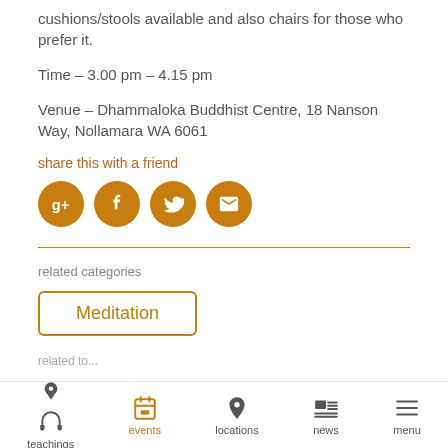cushions/stools available and also chairs for those who prefer it.
Time – 3.00 pm – 4.15 pm
Venue – Dhammaloka Buddhist Centre, 18 Nanson Way, Nollamara WA 6061
share this with a friend
[Figure (infographic): Four social share icons: Google+, Facebook, Twitter, Email — all in amber/gold circles]
related categories
Meditation
teachings | events | locations | news | menu